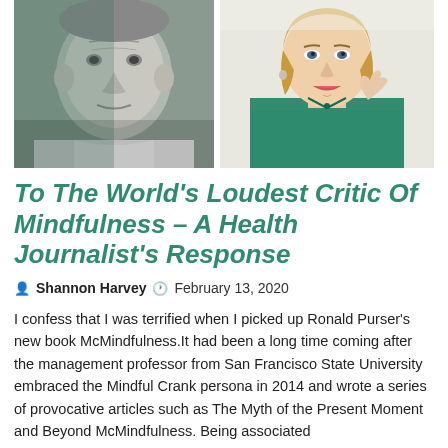[Figure (photo): Two portrait photos side by side: left is a black and white photo of an older man (Ronald Purser), right is a color photo of a smiling blonde woman in a teal/green blouse (Shannon Harvey)]
To The World's Loudest Critic Of Mindfulness – A Health Journalist's Response
Shannon Harvey  February 13, 2020
I confess that I was terrified when I picked up Ronald Purser's new book McMindfulness.It had been a long time coming after the management professor from San Francisco State University embraced the Mindful Crank persona in 2014 and wrote a series of provocative articles such as The Myth of the Present Moment and Beyond McMindfulness. Being associated